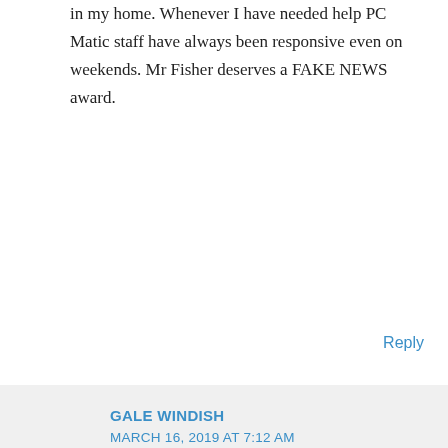in my home. Whenever I have needed help PC Matic staff have always been responsive even on weekends. Mr Fisher deserves a FAKE NEWS award.
Reply
GALE WINDISH
MARCH 16, 2019 AT 7:12 AM
I have had you guys for just over a year. And I think you're the best! My computer is working at it's best and have had no problems at all. All that article is, “fake news”.
Reply